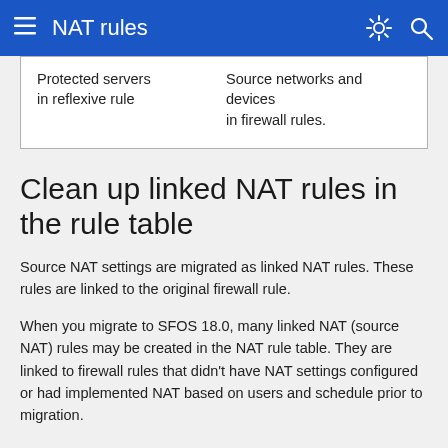NAT rules
| Protected servers in reflexive rule | Source networks and devices in firewall rules. |
Clean up linked NAT rules in the rule table
Source NAT settings are migrated as linked NAT rules. These rules are linked to the original firewall rule.
When you migrate to SFOS 18.0, many linked NAT (source NAT) rules may be created in the NAT rule table. They are linked to firewall rules that didn't have NAT settings configured or had implemented NAT based on users and schedule prior to migration.